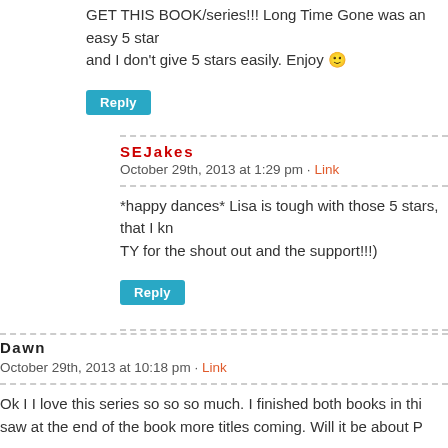GET THIS BOOK/series!!! Long Time Gone was an easy 5 star and I don't give 5 stars easily. Enjoy 🙂
Reply
SEJakes
October 29th, 2013 at 1:29 pm · Link
*happy dances* Lisa is tough with those 5 stars, that I kn TY for the shout out and the support!!!)
Reply
Dawn
October 29th, 2013 at 10:18 pm · Link
Ok I I love this series so so so much. I finished both books in thi saw at the end of the book more titles coming. Will it be about P